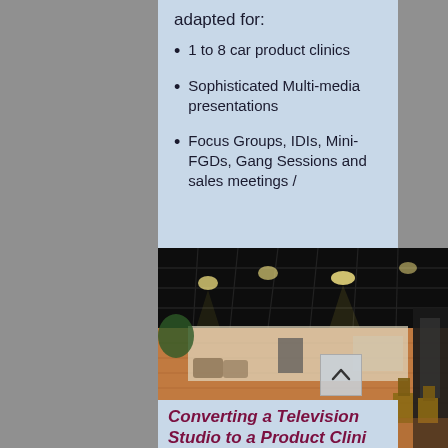adapted for:
1 to 8 car product clinics
Sophisticated Multi-media presentations
Focus Groups, IDIs, Mini-FGDs, Gang Sessions and sales meetings /
[Figure (photo): Interior of a large television studio or event space with grid ceiling, stage lighting, wooden floor, and furnished living room set in background]
Converting a Television Studio to a Product Clinic